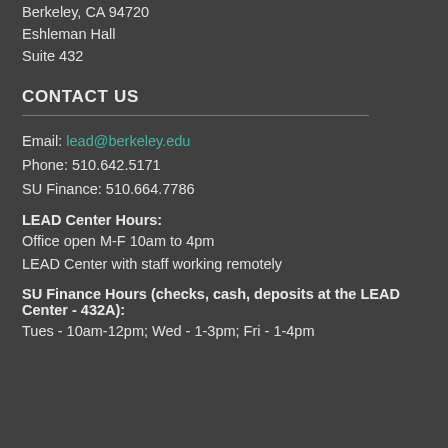Berkeley, CA 94720
Eshleman Hall
Suite 432
CONTACT US
Email: lead@berkeley.edu
Phone: 510.642.5171
SU Finance: 510.664.7786
LEAD Center Hours:
Office open M-F 10am to 4pm
LEAD Center with staff working remotely
SU Finance Hours (checks, cash, deposits at the LEAD Center - 432A):
Tues - 10am-12pm; Wed - 1-3pm; Fri - 1-4pm